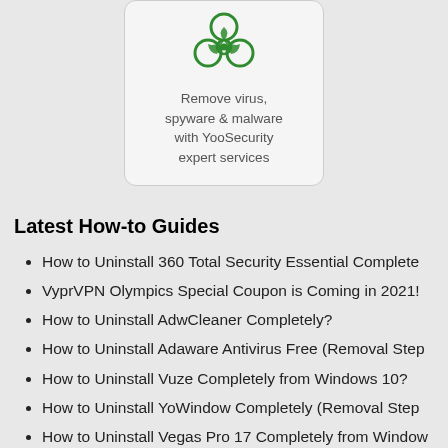[Figure (illustration): A card widget with a green biohazard symbol icon and text: Remove virus, spyware & malware with YooSecurity expert services]
Latest How-to Guides
How to Uninstall 360 Total Security Essential Complete
VyprVPN Olympics Special Coupon is Coming in 2021!
How to Uninstall AdwCleaner Completely?
How to Uninstall Adaware Antivirus Free (Removal Step
How to Uninstall Vuze Completely from Windows 10?
How to Uninstall YoWindow Completely (Removal Step
How to Uninstall Vegas Pro 17 Completely from Window
How to Uninstall MiniTool Partition Wizard Free Edition
How to Remove SolSuite Solitaire 2021 Thoroughly?